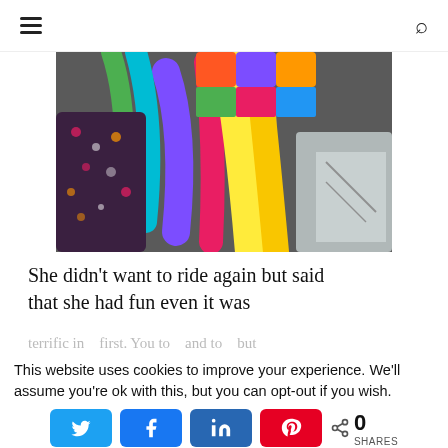≡  🔍
[Figure (photo): Colorful rainbow stuffed toy octopus or similar plush toy in a sink, next to a child wearing floral shorts. Bright yellow, pink, purple, green, orange and blue fabric arms visible.]
She didn't want to ride again but said that she had fun even it was
terrific in … first. You to … and to … but …
This website uses cookies to improve your experience. We'll assume you're ok with this, but you can opt-out if you wish.
< 0 SHARES